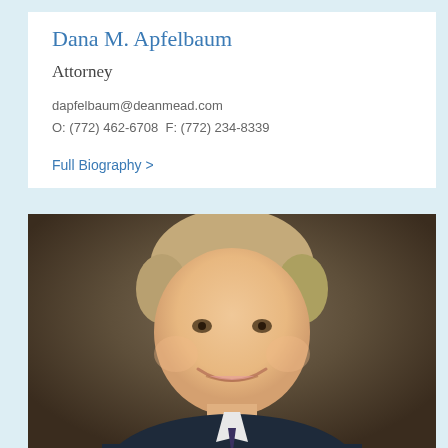Dana M. Apfelbaum
Attorney
dapfelbaum@deanmead.com
O: (772) 462-6708 F: (772) 234-8339
Full Biography >
[Figure (photo): Professional headshot of a middle-aged man with light brown/sandy hair, wearing a dark suit, smiling, against a brown studio background]